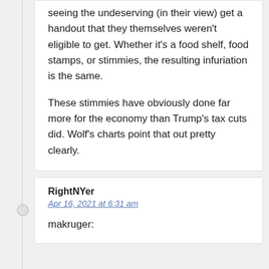seeing the undeserving (in their view) get a handout that they themselves weren't eligible to get. Whether it's a food shelf, food stamps, or stimmies, the resulting infuriation is the same.

These stimmies have obviously done far more for the economy than Trump's tax cuts did. Wolf's charts point that out pretty clearly.
RightNYer
Apr 16, 2021 at 6:31 am
makruger: